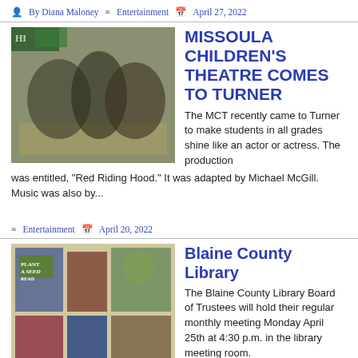By Diana Maloney  Entertainment  April 27, 2022
MISSOULA CHILDREN'S THEATRE COMES TO TURNER
[Figure (photo): Children performing on stage in a gymnasium, wearing costumes]
The MCT recently came to Turner to make students in all grades shine like an actor or actress. The production was entitled, "Red Riding Hood." It was adapted by Michael McGill. Music was also by...
Entertainment  April 20, 2022
Blaine County Library
[Figure (photo): Library display with books and plants]
The Blaine County Library Board of Trustees will hold their regular monthly meeting Monday April 25th at 4:30 p.m. in the library meeting room. April is National Poetry Month. We have a display of...